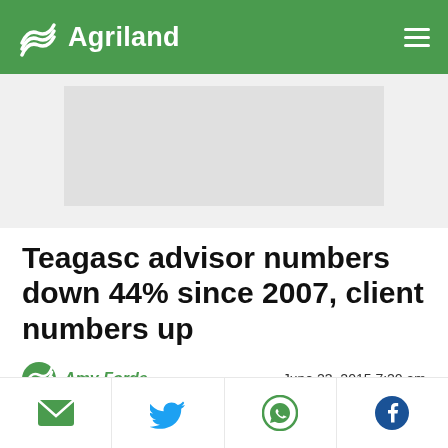Agriland
[Figure (other): Advertisement placeholder banner (gray rectangle)]
Teagasc advisor numbers down 44% since 2007, client numbers up
Amy Forde   June 23, 2015 7:20 am
[Figure (logo): Agriland logo watermark on green banner background]
The number of Teagasc advisors has dropped by
Email | Twitter | WhatsApp | Facebook share buttons